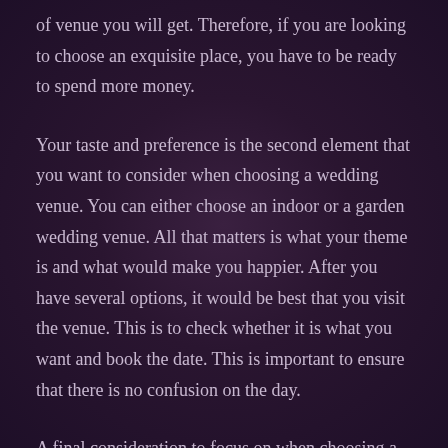of venue you will get. Therefore, if you are looking to choose an exquisite place, you have to be ready to spend more money.
Your taste and preference is the second element that you want to consider when choosing a wedding venue. You can either choose an indoor or a garden wedding venue. All that matters is what your theme is and what would make you happier. After you have several options, it would be best that you visit the venue. This is to check whether it is what you want and book the date. This is important to ensure that there is no confusion on the day.
A final consideration to focus on when choosing a wedding venue is the location. First, you need to consider the time that you will hold your wedding. Note that where your guests are coming from also matters. If would be best to book a wedding venue which each of your invites cam have easy access to. This will also make sure that they come to the venue early and that the schedule will